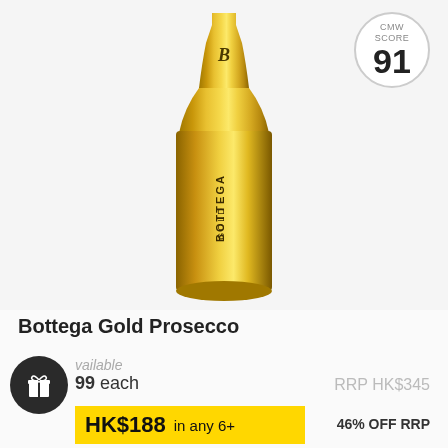[Figure (photo): Gold metallic Bottega Gold Prosecco bottle with shiny gold finish, brand name BOTTEGA GOLD embossed on the bottle, tall elongated shape on light grey background.]
CMW SCORE 91
Bottega Gold Prosecco
vailable
99 each
RRP HK$345
HK$188 in any 6+
46% OFF RRP